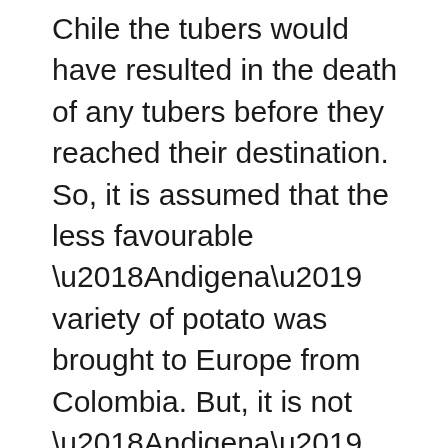Chile the tubers would have resulted in the death of any tubers before they reached their destination. So, it is assumed that the less favourable ‘Andigena’ variety of potato was brought to Europe from Colombia. But, it is not ‘Andigena’ variety that we see every day on our dinner tables in Ireland, but the Chilean variety ‘Tuberosum’. So, what happened?